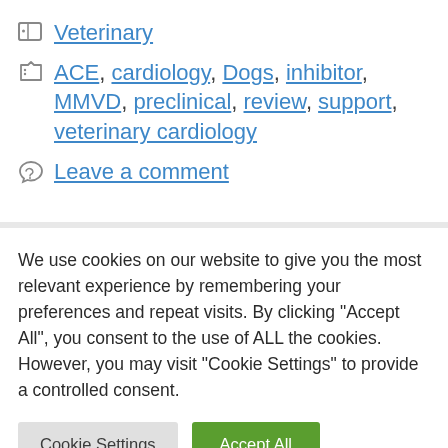Veterinary
ACE, cardiology, Dogs, inhibitor, MMVD, preclinical, review, support, veterinary cardiology
Leave a comment
We use cookies on our website to give you the most relevant experience by remembering your preferences and repeat visits. By clicking “Accept All”, you consent to the use of ALL the cookies. However, you may visit "Cookie Settings" to provide a controlled consent.
Cookie Settings | Accept All